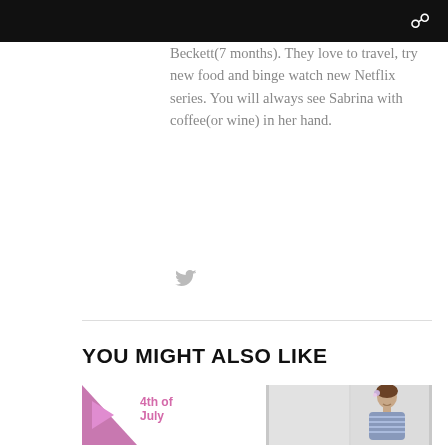Beckett(7 months). They love to travel, try new food and binge watch new Netflix series. You will always see Sabrina with coffee(or wine) in her hand.
[Figure (other): Twitter bird icon in light gray]
YOU MIGHT ALSO LIKE
[Figure (other): 4th of July themed thumbnail with pink/purple triangle play button graphic and pink text reading '4th of July']
[Figure (photo): Woman in blue striped shirt wearing a floral headband, standing against a white wall, smiling]